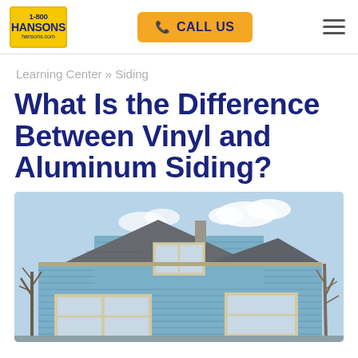1-800 HANSONS hansons.com | CALL US
Learning Center » Siding
What Is the Difference Between Vinyl and Aluminum Siding?
[Figure (photo): A two-story house with blue horizontal vinyl siding, white-trimmed windows, dark shingle roof, and bare winter trees in the background under a blue sky.]